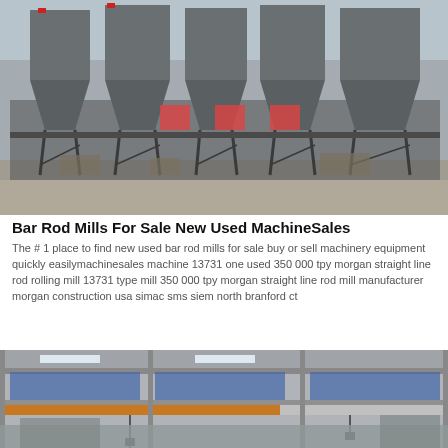[Figure (photo): Industrial facility with large grey conical hoppers/silos on metal frame structures, outdoor setting with paved ground, Chinese signage visible on buildings in background]
Bar Rod Mills For Sale New Used MachineSales
The # 1 place to find new used bar rod mills for sale buy or sell machinery equipment quickly easilymachinesales machine 13731 one used 350 000 tpy morgan straight line rod rolling mill 13731 type mill 350 000 tpy morgan straight line rod mill manufacturer morgan construction usa simac sms siem north branford ct
Chat Online
[Figure (photo): Interior of an industrial facility showing overhead crane structure, concrete walls with equipment and signage, industrial workshop environment]